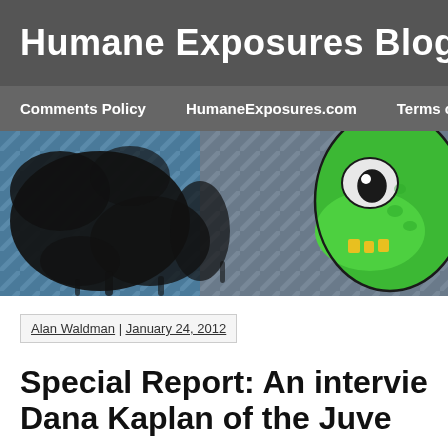Humane Exposures Blog
Comments Policy | HumaneExposures.com | Terms of U
[Figure (illustration): Banner image with dark ink splatter on left side and illustrated green cartoon dragon/crocodile face on the right side, with blue diagonal striped background.]
Alan Waldman | January 24, 2012
Special Report: An intervie Dana Kaplan of the Juve